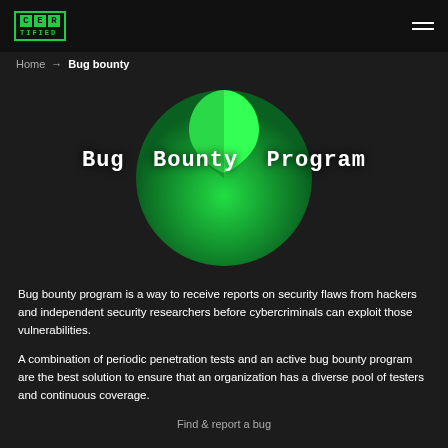CER TIFIED
Home → Bug bounty
[Figure (illustration): Large dark green circle with a bright green teardrop/leaf shape cutout at the top, creating a pac-man-like or yin-yang effect. The circle serves as decorative background behind the Bug Bounty Program title.]
Bug Bounty Program
Bug bounty program is a way to receive reports on security flaws from hackers and independent security researchers before cybercriminals can exploit those vulnerabilities.
A combination of periodic penetration tests and an active bug bounty program are the best solution to ensure that an organization has a diverse pool of testers and continuous coverage.
Find & report a bug